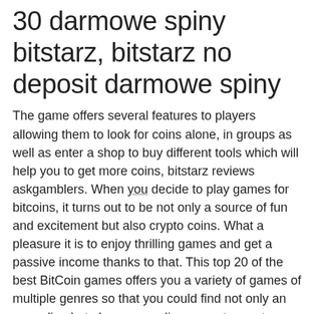30 darmowe spiny bitstarz, bitstarz no deposit darmowe spiny
The game offers several features to players allowing them to look for coins alone, in groups as well as enter a shop to buy different tools which will help you to get more coins, bitstarz reviews askgamblers. When you decide to play games for bitcoins, it turns out to be not only a source of fun and excitement but also crypto coins. What a pleasure it is to enjoy thrilling games and get a passive income thanks to that. This top 20 of the best BitCoin games offers you a variety of games of multiple genres so that you could find not only an appealing but also a rewarding game to meet your expectations. Satoshi's Games: Earn Satoshi By Playing Every Day. The mining rigs can be upgraded up to 800 level to make your